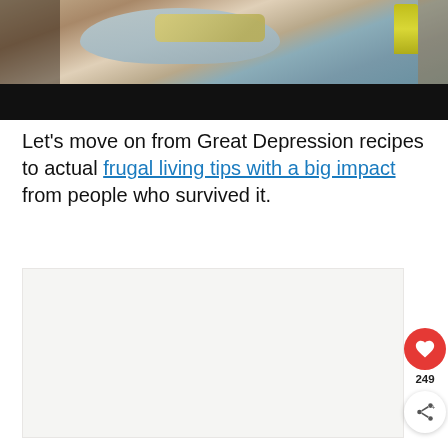[Figure (photo): Person holding a gray plate with breaded food, kitchen background. Lower portion of image has a black bar.]
Let's move on from Great Depression recipes to actual frugal living tips with a big impact from people who survived it.
[Figure (photo): Partial second image area, mostly light/blank.]